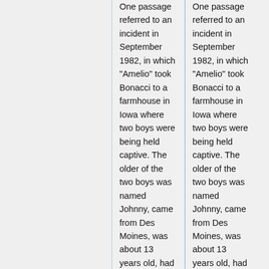One passage referred to an incident in September 1982, in which "Amelio" took Bonacci to a farmhouse in Iowa where two boys were being held captive. The older of the two boys was named Johnny, came from Des Moines, was about 13 years old, had blue eyes with brown hair, and wore a Kim's Academy shirt with black athletic pants. <ref
One passage referred to an incident in September 1982, in which "Amelio" took Bonacci to a farmhouse in Iowa where two boys were being held captive. The older of the two boys was named Johnny, came from Des Moines, was about 13 years old, had blue eyes with brown hair, and wore a Kim's Academy shirt with black athletic pants. <ref